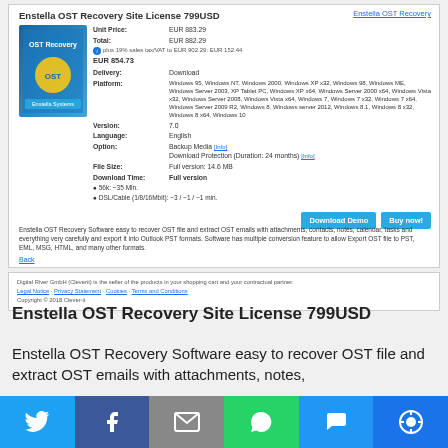Enstella OST Recovery Site License 799USD
Unit Price: EUR 883.29
Total: EUR 882.29
plus 19% sales tax/VAT to EUR 902.29: EUR 152.44
EUR 854.73
Delivery: Download
Platform: Windows 95, Windows NT, Windows 2000, Windows XP x32, Windows 98, Windows ME, Windows Server 2003, XP Tablet PC, Windows XP x64, Windows Server 2000 x64, Windows Vista x32, Windows Server 2008, Windows Vista x64, Windows 7, Windows 7 x32, Windows 7 x64, Windows Server 2009 R2, Windows 8, Windows server 2012, Windows 8.1, Windows 8 x32, Windows 8 x64, Windows 10
Version: 7.0
Language: English
Option: Backup Media [Info]
Download Protection (Duration: 24 months) [Info]
File Size: Full version: 14.6 MB
Download Time: Full version
• 56k: ~35 Min.
• DSL/Cable (1/8/16Mbit): ~3 / ~1 / ~1 min.
[Figure (screenshot): Product box image for Enstella OST Recovery software]
Enstella OST Recovery Software easy to recover OST file and extract OST emails with attachments, contacts, notes, calendar, tasks and everything very carefully and export it into Outlook PST formats. Software has multiple conversion feature to allow Export OST file to PST, EML, MSG, HTML, and many other formats.
Back
Digital River GmbH (Cleverit) is the seller of the products in your shopping cart and your contractual partner.
Legal Notice - Privacy Statement - Cookies - Terms and Conditions
Copyright © 2018 Clever-it
Enstella OST Recovery Site License 799USD
Enstella OST Recovery Software easy to recover OST file and extract OST emails with attachments, notes,